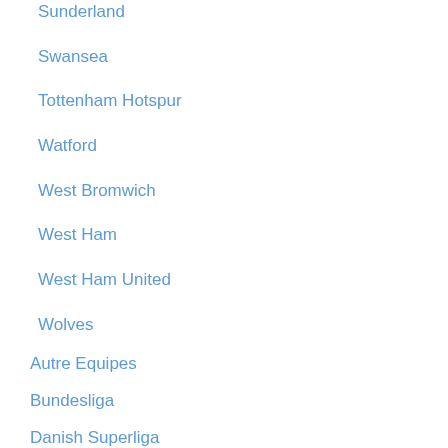Sunderland
Swansea
Tottenham Hotspur
Watford
West Bromwich
West Ham
West Ham United
Wolves
Autre Equipes
Bundesliga
Danish Superliga